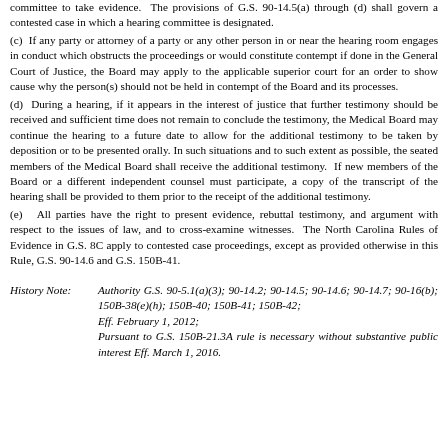committee to take evidence. The provisions of G.S. 90-14.5(a) through (d) shall govern a contested case in which a hearing committee is designated.
(c)  If any party or attorney of a party or any other person in or near the hearing room engages in conduct which obstructs the proceedings or would constitute contempt if done in the General Court of Justice, the Board may apply to the applicable superior court for an order to show cause why the person(s) should not be held in contempt of the Board and its processes.
(d)  During a hearing, if it appears in the interest of justice that further testimony should be received and sufficient time does not remain to conclude the testimony, the Medical Board may continue the hearing to a future date to allow for the additional testimony to be taken by deposition or to be presented orally. In such situations and to such extent as possible, the seated members of the Medical Board shall receive the additional testimony.  If new members of the Board or a different independent counsel must participate, a copy of the transcript of the hearing shall be provided to them prior to the receipt of the additional testimony.
(e)  All parties have the right to present evidence, rebuttal testimony, and argument with respect to the issues of law, and to cross-examine witnesses.  The North Carolina Rules of Evidence in G.S. 8C apply to contested case proceedings, except as provided otherwise in this Rule, G.S. 90-14.6 and G.S. 150B-41.
History Note:  Authority G.S. 90-5.1(a)(3); 90-14.2; 90-14.5; 90-14.6; 90-14.7; 90-16(b); 150B-38(e)(h); 150B-40; 150B-41; 150B-42; Eff. February 1, 2012; Pursuant to G.S. 150B-21.3A rule is necessary without substantive public interest Eff. March 1, 2016.